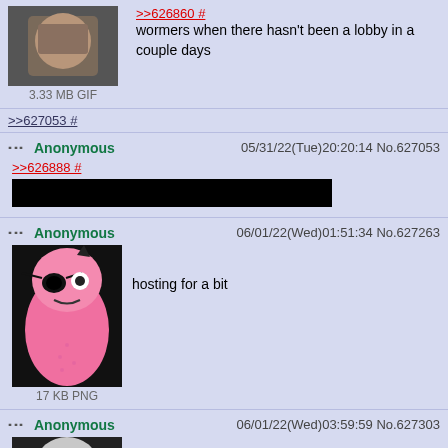[Figure (photo): Partial post showing a man's face (partial image), with text '>>626860 #' link in red, 'wormers when there hasn't been a lobby in a couple days', and '3.33 MB GIF' caption]
>>627053 #
Anonymous 05/31/22(Tue)20:20:14 No.627053
>>626888 # [black bar redaction]
Anonymous 06/01/22(Wed)01:51:34 No.627263
[Figure (illustration): Pink cartoon worm character with pirate eyepatch, 17 KB PNG]
hosting for a bit
Anonymous 06/01/22(Wed)03:59:59 No.627303
[Figure (photo): Partial image of a costumed character (Eggman/Robotnik costume), with greentext '>goku battle arena']